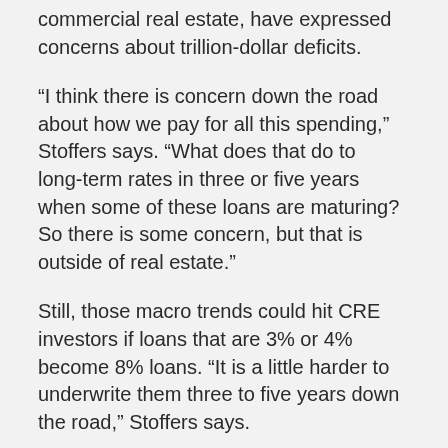commercial real estate, have expressed concerns about trillion-dollar deficits.
“I think there is concern down the road about how we pay for all this spending,” Stoffers says. “What does that do to long-term rates in three or five years when some of these loans are maturing? So there is some concern, but that is outside of real estate.”
Still, those macro trends could hit CRE investors if loans that are 3% or 4% become 8% loans. “It is a little harder to underwrite them three to five years down the road,” Stoffers says.
Still, somewhat surprisingly, Stoffers doesn’t sense a lot of alarm from buyers about how their exit strategy will